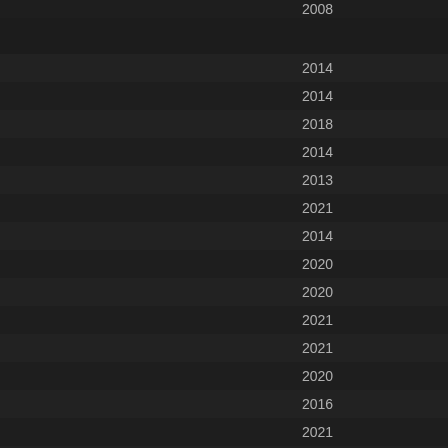|  | Year |  |
| --- | --- | --- |
|  | 2008 |  |
|  | 2014 |  |
|  | 2014 |  |
|  | 2018 |  |
|  | 2014 |  |
|  | 2013 |  |
|  | 2021 |  |
|  | 2014 |  |
|  | 2020 |  |
|  | 2020 |  |
|  | 2021 |  |
|  | 2021 |  |
|  | 2020 |  |
|  | 2016 |  |
|  | 2021 |  |
|  | 2021 |  |
|  | 2021 |  |
|  | 2016 |  |
|  | 1999 |  |